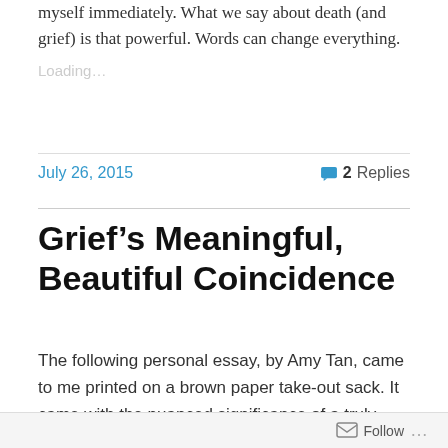myself immediately. What we say about death (and grief) is that powerful. Words can change everything.
Loading...
July 26, 2015    2 Replies
Grief’s Meaningful, Beautiful Coincidence
The following personal essay, by Amy Tan, came to me printed on a brown paper take-out sack. It came with the nuanced significance of a truly brilliant synchronicity – particular meanings that I, and those familiar with our